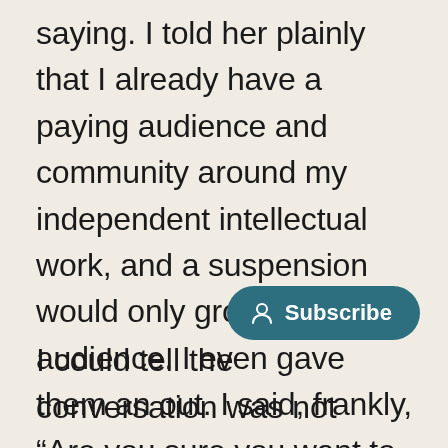saying. I told her plainly that I already have a paying audience and community around my independent intellectual work, and a suspension would only grow my audience. I even gave them an out. I said, frankly, “Are you sure you want to do this? This is going to be good for me, and bad for the university…” They were just confused.
[Figure (other): A teal rounded pill-shaped Subscribe button with a person/user icon on the left and the text 'Subscribe' on the right]
I could tell the conversation was not